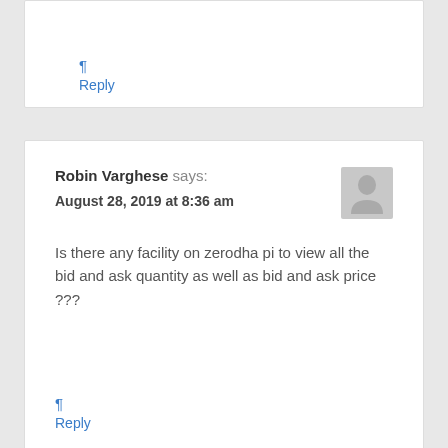¶
Reply
Robin Varghese says:
August 28, 2019 at 8:36 am
[Figure (photo): Generic user avatar silhouette in gray]
Is there any facility on zerodha pi to view all the bid and ask quantity as well as bid and ask price ???
¶
Reply
Matti says:
August 28, 2019 at 12:19 pm
[Figure (photo): Black and white photo of a person]
I'm afraid not. You'll only see the top 5 asks and bids and the total.